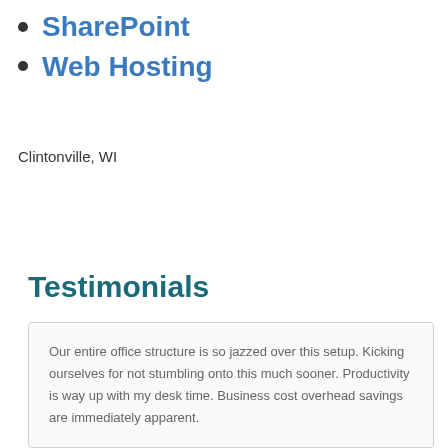SharePoint
Web Hosting
Clintonville, WI
Testimonials
Our entire office structure is so jazzed over this setup. Kicking ourselves for not stumbling onto this much sooner. Productivity is way up with my desk time. Business cost overhead savings are immediately apparent.